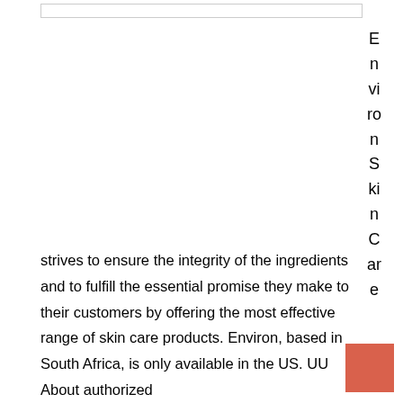Environ Skin Care
strives to ensure the integrity of the ingredients and to fulfill the essential promise they make to their customers by offering the most effective range of skin care products. Environ, based in South Africa, is only available in the US. UU About authorized